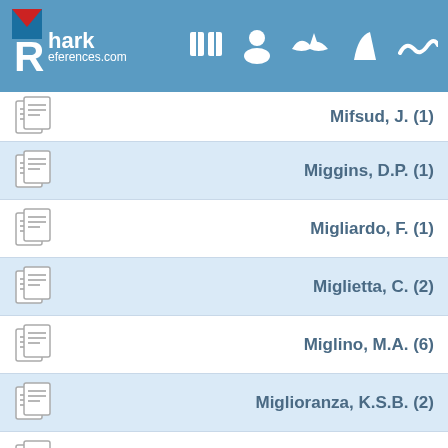SharkReferences.com
Mifsud, J. (1)
Miggins, D.P. (1)
Migliardo, F. (1)
Miglietta, C. (2)
Miglino, M.A. (6)
Miglioranza, K.S.B. (2)
Mignucci-Giannoni, A.A. (2)
Migom, F. (1)